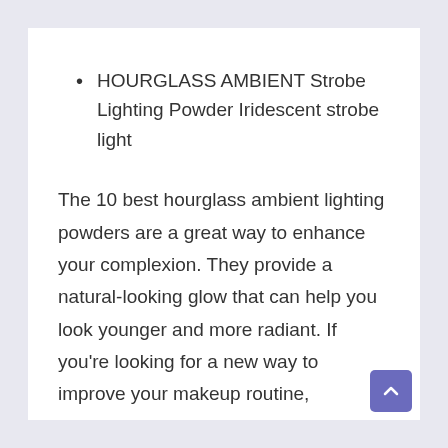HOURGLASS AMBIENT Strobe Lighting Powder Iridescent strobe light
The 10 best hourglass ambient lighting powders are a great way to enhance your complexion. They provide a natural-looking glow that can help you look younger and more radiant. If you’re looking for a new way to improve your makeup routine,